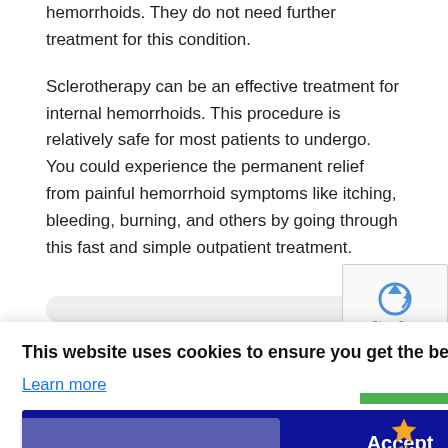hemorrhoids. They do not need further treatment for this condition.
Sclerotherapy can be an effective treatment for internal hemorrhoids. This procedure is relatively safe for most patients to undergo. You could experience the permanent relief from painful hemorrhoid symptoms like itching, bleeding, burning, and others by going through this fast and simple outpatient treatment.
This website uses cookies to ensure you get the best experience on our website.
Learn more
Accept